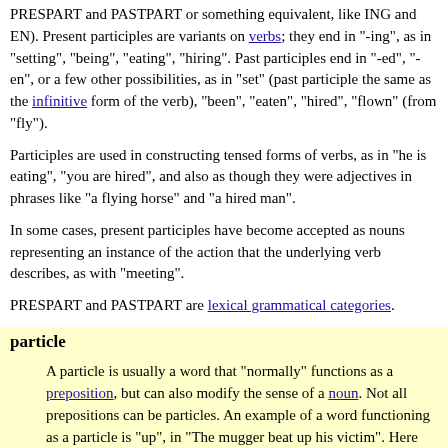PRESPART and PASTPART or something equivalent, like ING and EN). Present participles are variants on verbs; they end in "-ing", as in "setting", "being", "eating", "hiring". Past participles end in "-ed", "-en", or a few other possibilities, as in "set" (past participle the same as the infinitive form of the verb), "been", "eaten", "hired", "flown" (from "fly").
Participles are used in constructing tensed forms of verbs, as in "he is eating", "you are hired", and also as though they were adjectives in phrases like "a flying horse" and "a hired man".
In some cases, present participles have become accepted as nouns representing an instance of the action that the underlying verb describes, as with "meeting".
PRESPART and PASTPART are lexical grammatical categories.
particle
A particle is usually a word that "normally" functions as a preposition, but can also modify the sense of a noun. Not all prepositions can be particles. An example of a word functioning as a particle is "up", in "The mugger beat up his victim". Here "beat up" functions as a unit that determines